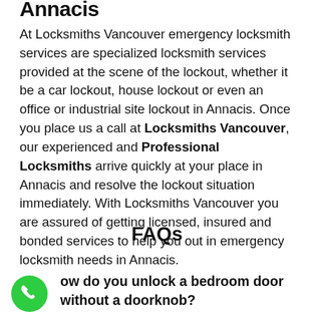Annacis
At Locksmiths Vancouver emergency locksmith services are specialized locksmith services provided at the scene of the lockout, whether it be a car lockout, house lockout or even an office or industrial site lockout in Annacis. Once you place us a call at Locksmiths Vancouver, our experienced and Professional Locksmiths arrive quickly at your place in Annacis and resolve the lockout situation immediately. With Locksmiths Vancouver you are assured of getting licensed, insured and bonded services to help you out in emergency locksmith needs in Annacis.
FAQs
How do you unlock a bedroom door without a doorknob?